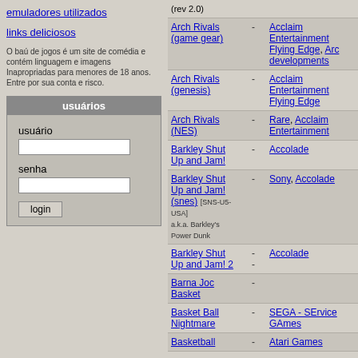emuladores utilizados
links deliciosos
O baú de jogos é um site de comédia e contém linguagem e imagens Inapropriadas para menores de 18 anos. Entre por sua conta e risco.
usuários
usuário
senha
| Game |  | Publisher |
| --- | --- | --- |
| (rev 2.0) |  |  |
| Arch Rivals (game gear) | - | Acclaim Entertainment Flying Edge, Arc developments |
| Arch Rivals (genesis) | - | Acclaim Entertainment Flying Edge |
| Arch Rivals (NES) | - | Rare, Acclaim Entertainment |
| Barkley Shut Up and Jam! | - | Accolade |
| Barkley Shut Up and Jam! (snes) [SNS-U5-USA] a.k.a. Barkley's Power Dunk | - | Sony, Accolade |
| Barkley Shut Up and Jam! 2 | -
- | Accolade |
| Barna Joc Basket | - |  |
| Basket Ball Nightmare | - | SEGA - SErvice GAmes |
| Basketball | - | Atari Games |